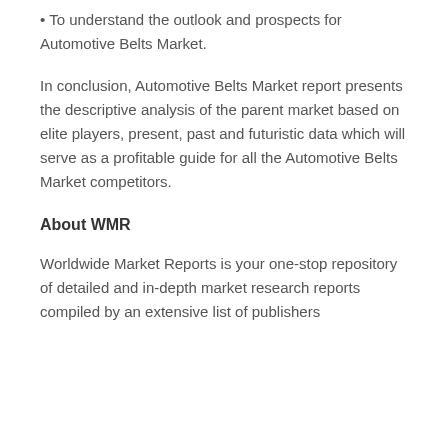• To understand the outlook and prospects for Automotive Belts Market.
In conclusion, Automotive Belts Market report presents the descriptive analysis of the parent market based on elite players, present, past and futuristic data which will serve as a profitable guide for all the Automotive Belts Market competitors.
About WMR
Worldwide Market Reports is your one-stop repository of detailed and in-depth market research reports compiled by an extensive list of publishers